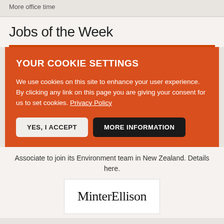More office time
Jobs of the Week
YOUR COOKIE SETTINGS
We use cookies on this site to enhance your user experience. By clicking any link on this page you are giving your consent for us to set cookies. Privacy Policy
YES, I ACCEPT
MORE INFORMATION
Associate to join its Environment team in New Zealand. Details here.
[Figure (logo): MinterEllison law firm logo in serif font on white background]